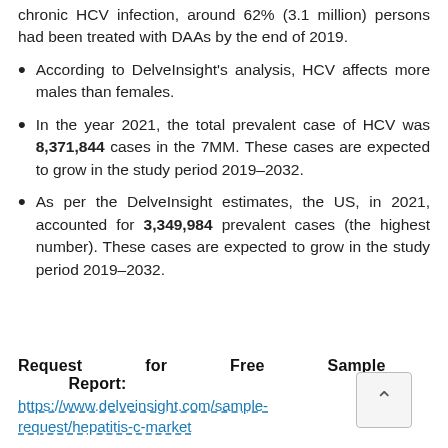chronic HCV infection, around 62% (3.1 million) persons had been treated with DAAs by the end of 2019.
According to DelveInsight's analysis, HCV affects more males than females.
In the year 2021, the total prevalent case of HCV was 8,371,844 cases in the 7MM. These cases are expected to grow in the study period 2019–2032.
As per the DelveInsight estimates, the US, in 2021, accounted for 3,349,984 prevalent cases (the highest number). These cases are expected to grow in the study period 2019–2032.
Request for Free Sample Report: https://www.delveinsight.com/sample-request/hepatitis-c-market